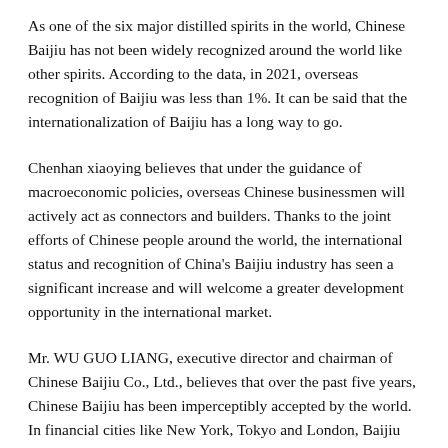As one of the six major distilled spirits in the world, Chinese Baijiu has not been widely recognized around the world like other spirits. According to the data, in 2021, overseas recognition of Baijiu was less than 1%. It can be said that the internationalization of Baijiu has a long way to go.
Chenhan xiaoying believes that under the guidance of macroeconomic policies, overseas Chinese businessmen will actively act as connectors and builders. Thanks to the joint efforts of Chinese people around the world, the international status and recognition of China's Baijiu industry has seen a significant increase and will welcome a greater development opportunity in the international market.
Mr. WU GUO LIANG, executive director and chairman of Chinese Baijiu Co., Ltd., believes that over the past five years, Chinese Baijiu has been imperceptibly accepted by the world. In financial cities like New York, Tokyo and London, Baijiu was not only drunk, but also paid attention to the role of his financial instruments. As